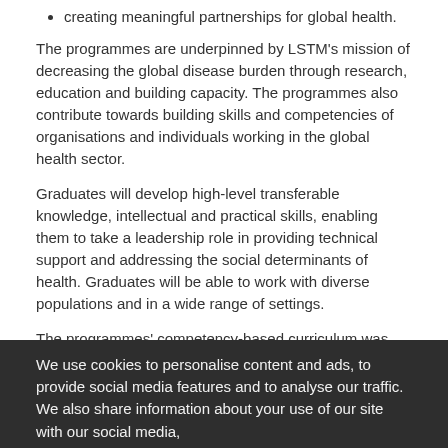creating meaningful partnerships for global health.
The programmes are underpinned by LSTM’s mission of decreasing the global disease burden through research, education and building capacity. The programmes also contribute towards building skills and competencies of organisations and individuals working in the global health sector.
Graduates will develop high-level transferable knowledge, intellectual and practical skills, enabling them to take a leadership role in providing technical support and addressing the social determinants of health. Graduates will be able to work with diverse populations and in a wide range of settings.
The programmes’ competency-based curriculum was developed following close consultation with employers and key stakeholders, a review of global health competencies from renowned global health agencies and informed by evidence from global health employers to ensure relevancy and graduate employability.
We use cookies to personalise content and ads, to provide social media features and to analyse our traffic. We also share information about your use of our site with our social media,